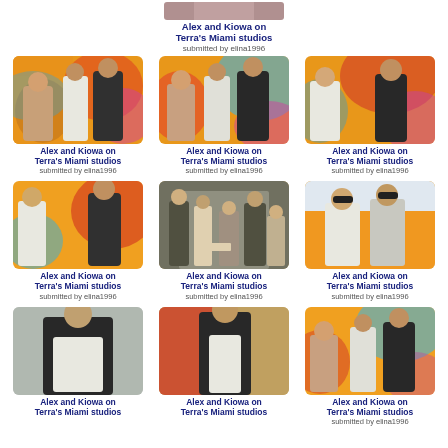[Figure (photo): Partial photo at top center showing people at Terra Miami studios]
Alex and Kiowa on Terra's Miami studios
submitted by elina1996
[Figure (photo): Alex and Kiowa seated at Terra Miami studios with colorful background]
Alex and Kiowa on Terra's Miami studios
submitted by elina1996
[Figure (photo): Alex and Kiowa seated at Terra Miami studios with colorful background]
Alex and Kiowa on Terra's Miami studios
submitted by elina1996
[Figure (photo): Alex and Kiowa at Terra Miami studios with colorful background]
Alex and Kiowa on Terra's Miami studios
submitted by elina1996
[Figure (photo): Alex and Kiowa at Terra Miami studios with colorful background close up]
Alex and Kiowa on Terra's Miami studios
submitted by elina1996
[Figure (photo): Alex and Kiowa standing backstage at Terra Miami studios]
Alex and Kiowa on Terra's Miami studios
submitted by elina1996
[Figure (photo): Alex and Kiowa with sunglasses at Terra Miami studios]
Alex and Kiowa on Terra's Miami studios
submitted by elina1996
[Figure (photo): Alex in black jacket and white shirt standing alone]
Alex and Kiowa on Terra's Miami studios
[Figure (photo): Alex in black jacket standing alone in studio]
Alex and Kiowa on Terra's Miami studios
[Figure (photo): Alex and Kiowa seated at Terra Miami studios]
Alex and Kiowa on Terra's Miami studios
submitted by elina1996